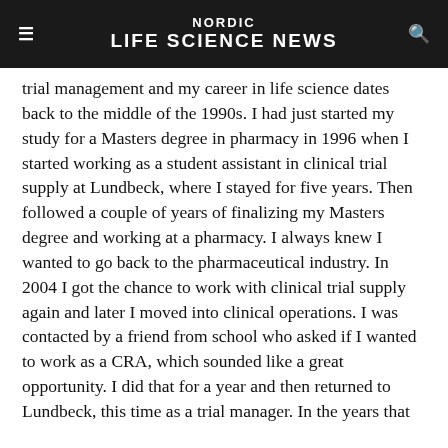NORDIC LIFE SCIENCE NEWS
trial management and my career in life science dates back to the middle of the 1990s. I had just started my study for a Masters degree in pharmacy in 1996 when I started working as a student assistant in clinical trial supply at Lundbeck, where I stayed for five years. Then followed a couple of years of finalizing my Masters degree and working at a pharmacy. I always knew I wanted to go back to the pharmaceutical industry. In 2004 I got the chance to work with clinical trial supply again and later I moved into clinical operations. I was contacted by a friend from school who asked if I wanted to work as a CRA, which sounded like a great opportunity. I did that for a year and then returned to Lundbeck, this time as a trial manager. In the years that